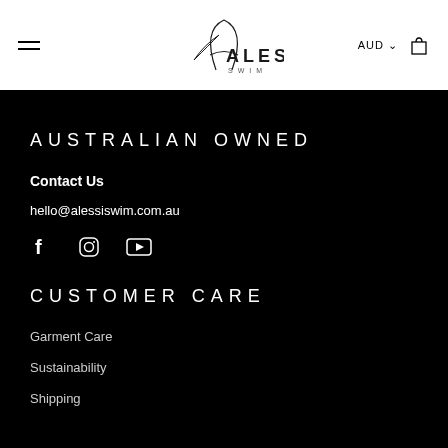ALESSI SWIM — Navigation bar with hamburger menu, logo, AUD currency selector, and cart icon
AUSTRALIAN OWNED
Contact Us
hello@alessiswim.com.au
[Figure (other): Social media icons: Facebook, Instagram, YouTube]
CUSTOMER CARE
Garment Care
Sustainability
Shipping